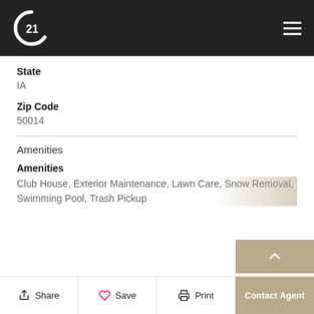[Figure (logo): Century 21 logo (white C and 21 on dark background)]
State
IA
Zip Code
50014
Amenities
Amenities
Club House, Exterior Maintenance, Lawn Care, Snow Removal, Swimming Pool, Trash Pickup
Share  Save  Print  Contact Agent